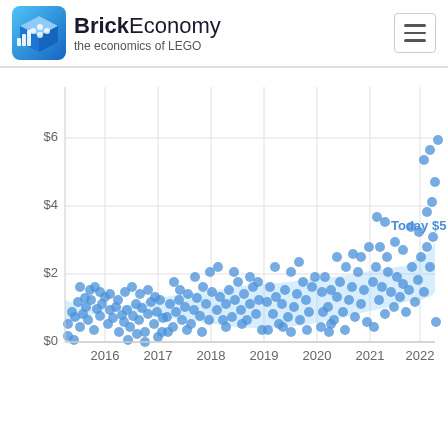BrickEconomy — the economics of LEGO
[Figure (continuous-plot): Scatter plot showing LEGO set values (USD) from 2015 to 2022+. Y-axis ranges from $0 to above $6. X-axis shows years 2016 through 2022. A shaded blue trend band rises from approximately $2-$3 in 2015-2016 to $4-$6 in 2022. Hundreds of blue dots are scattered throughout. A label 'Today $5' appears near the top right around 2022.]